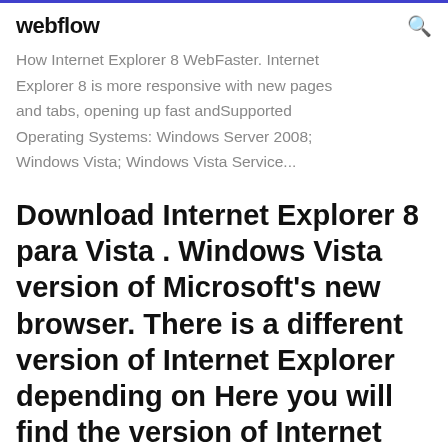webflow
How Internet Explorer 8 WebFaster. Internet Explorer 8 is more responsive with new pages and tabs, opening up fast andSupported Operating Systems: Windows Server 2008; Windows Vista; Windows Vista Service...
Download Internet Explorer 8 para Vista . Windows Vista version of Microsoft's new browser. There is a different version of Internet Explorer depending on Here you will find the version of Internet Explorer 8